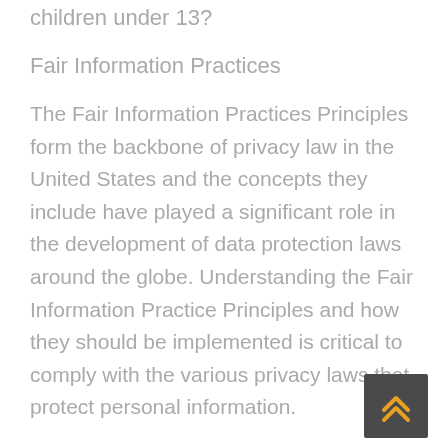children under 13?
Fair Information Practices
The Fair Information Practices Principles form the backbone of privacy law in the United States and the concepts they include have played a significant role in the development of data protection laws around the globe. Understanding the Fair Information Practice Principles and how they should be implemented is critical to comply with the various privacy laws that protect personal information.
In order to be in line with Fair Information Practices we will take the following